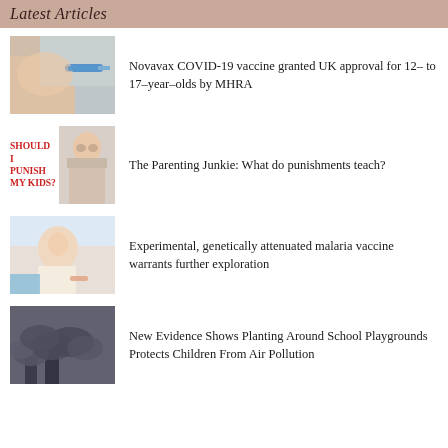Latest Articles
[Figure (photo): Person receiving a vaccine injection in the arm from a gloved hand with a syringe]
Novavax COVID-19 vaccine granted UK approval for 12- to 17-year-olds by MHRA
[Figure (photo): Text reading SHOULD I PUNISH MY KIDS? beside a photo of a woman with serious expression]
The Parenting Junkie: What do punishments teach?
[Figure (photo): Baby or toddler receiving a vaccination injection]
Experimental, genetically attenuated malaria vaccine warrants further exploration
[Figure (photo): Industrial smokestacks emitting dark smoke clouds, air pollution scene]
New Evidence Shows Planting Around School Playgrounds Protects Children From Air Pollution